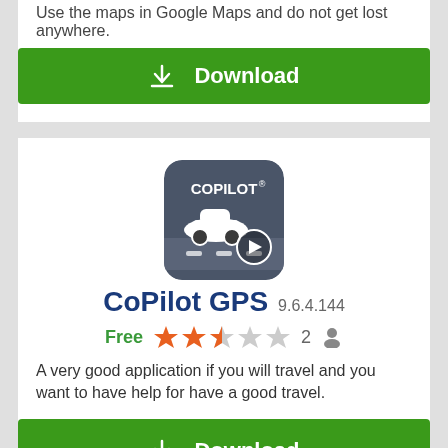Use the maps in Google Maps and do not get lost anywhere.
Download
[Figure (logo): CoPilot GPS app icon - dark grey rounded square with car silhouette and play button on road]
CoPilot GPS 9.6.4.144
Free  ★★★☆☆ 2
A very good application if you will travel and you want to have help for have a good travel.
Download